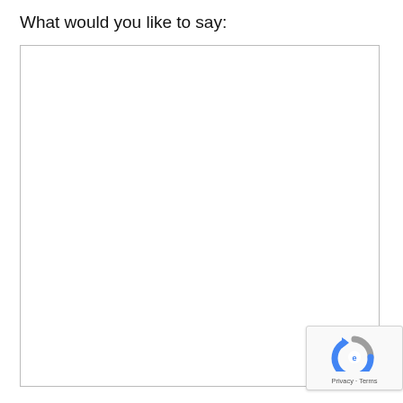What would you like to say:
[Figure (screenshot): Empty white textarea input box with a thin border]
[Figure (logo): Google reCAPTCHA badge with spinning arrows logo and Privacy - Terms links]